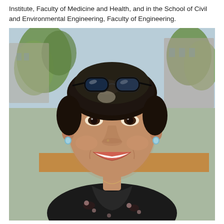Institute, Faculty of Medicine and Health, and in the School of Civil and Environmental Engineering, Faculty of Engineering.
[Figure (photo): Portrait photograph of a person with short dark hair and sunglasses on top of their head, smiling, wearing a dark floral shirt, with a blurred outdoor urban background featuring trees and buildings.]